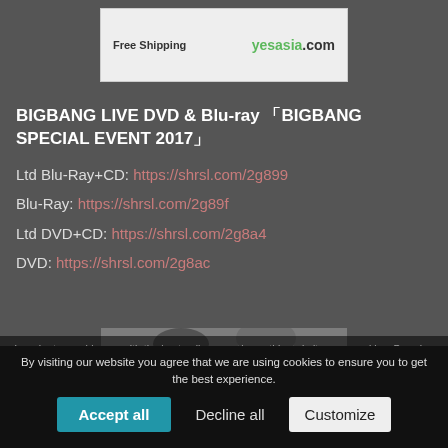[Figure (screenshot): YesAsia.com advertisement banner showing 'Free Shipping' text and the yesasia.com logo in green on a white/grey background with decorative red elements.]
BIGBANG LIVE DVD & Blu-ray 「BIGBANG SPECIAL EVENT 2017」
Ltd Blu-Ray+CD: https://shrsl.com/2g899
Blu-Ray: https://shrsl.com/2g89f
Ltd DVD+CD: https://shrsl.com/2g8a4
DVD: https://shrsl.com/2g8ac
[Figure (photo): Black and white photo of two people, appears to be BIGBANG members posing closely together.]
In order to provide you with the best online experience this website uses cookies. By using our website, you agree to our use of cookies.
By visiting our website you agree that we are using cookies to ensure you to get the best experience.
Accept all | Decline all | Customize